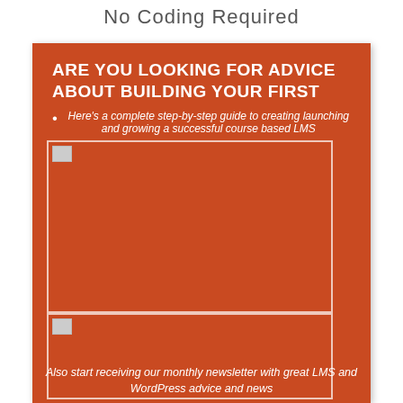No Coding Required
ARE YOU LOOKING FOR ADVICE ABOUT BUILDING YOUR FIRST
Here's a complete step-by-step guide to creating launching and growing a successful course based LMS
[Figure (photo): Placeholder image box (top) on orange background]
[Figure (photo): Placeholder image box (bottom) on orange background]
Also start receiving our monthly newsletter with great LMS and WordPress advice and news